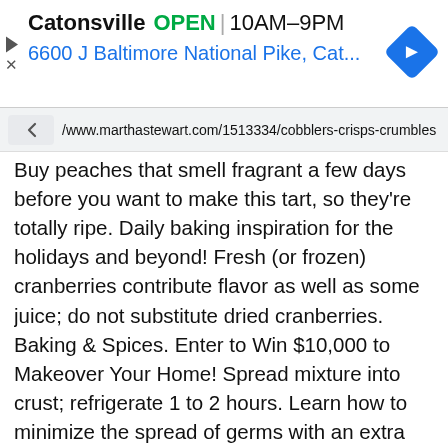[Figure (screenshot): Ad bar showing Catonsville store info: OPEN 10AM-9PM, 6600 J Baltimore National Pike, Cat... with navigation arrow icon]
/www.marthastewart.com/1513334/cobblers-crisps-crumbles
Buy peaches that smell fragrant a few days before you want to make this tart, so they're totally ripe. Daily baking inspiration for the holidays and beyond! Fresh (or frozen) cranberries contribute flavor as well as some juice; do not substitute dried cranberries. Baking & Spices. Enter to Win $10,000 to Makeover Your Home! Spread mixture into crust; refrigerate 1 to 2 hours. Learn how to minimize the spread of germs with an extra few seconds of scrubbing. Any 9-10 inch baking pan or pie dish, casserole dish, or 2-3 quart baking dish work great. Want more tasty and festive holiday cookie recipes and tips? 1 stick plus 3 tablespoons unsalted butter, room temperature, 1 teaspoon grated lemon zest, plus 2 tablespoons fresh juice, Back to Peach and Blueberry Tart with Cream Cheese Filling. If you would prefer a thicker filling, add